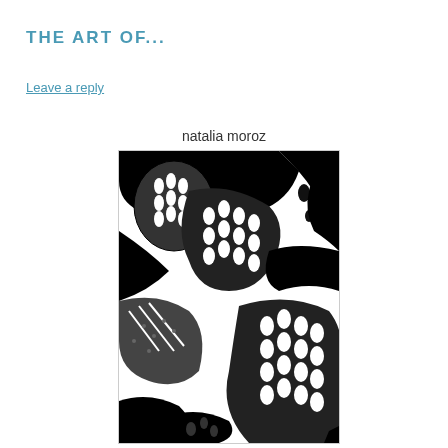THE ART OF...
Leave a reply
natalia moroz
[Figure (illustration): Black and white woodcut or linocut print showing pomegranates or similar fruit cut open, revealing seeds and interior textures in bold high-contrast graphic style by Natalia Moroz]